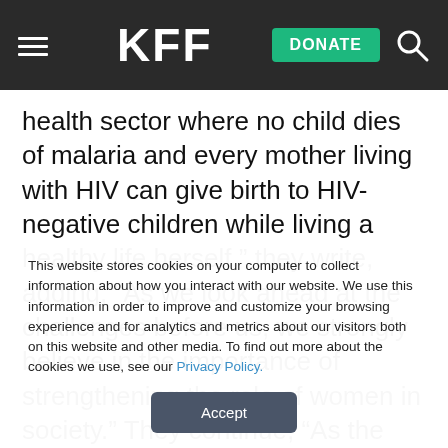KFF — DONATE
health sector where no child dies of malaria and every mother living with HIV can give birth to HIV-negative children while living a healthy life herself,” they write, adding, “As we look ahead at the challenges before us, we strongly believe in the importance of strengthening the role of women in society.” They continue, “As the world’s leading financial institution in the fight
This website stores cookies on your computer to collect information about how you interact with our website. We use this information in order to improve and customize your browsing experience and for analytics and metrics about our visitors both on this website and other media. To find out more about the cookies we use, see our Privacy Policy.